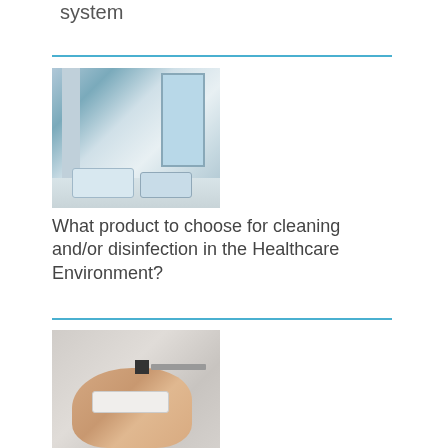system
[Figure (photo): Hospital ward corridor with hospital beds lined up, large windows in background, smooth floor]
What product to choose for cleaning and/or disinfection in the Healthcare Environment?
[Figure (photo): Close-up of a hand wearing a patient identification wristband with QR code and text]